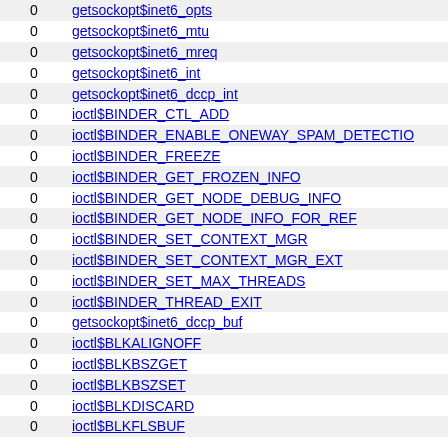|  |  |
| --- | --- |
| 0 | getsockopt$inet6_opts |
| 0 | getsockopt$inet6_mtu |
| 0 | getsockopt$inet6_mreq |
| 0 | getsockopt$inet6_int |
| 0 | getsockopt$inet6_dccp_int |
| 0 | ioctl$BINDER_CTL_ADD |
| 0 | ioctl$BINDER_ENABLE_ONEWAY_SPAM_DETECTION |
| 0 | ioctl$BINDER_FREEZE |
| 0 | ioctl$BINDER_GET_FROZEN_INFO |
| 0 | ioctl$BINDER_GET_NODE_DEBUG_INFO |
| 0 | ioctl$BINDER_GET_NODE_INFO_FOR_REF |
| 0 | ioctl$BINDER_SET_CONTEXT_MGR |
| 0 | ioctl$BINDER_SET_CONTEXT_MGR_EXT |
| 0 | ioctl$BINDER_SET_MAX_THREADS |
| 0 | ioctl$BINDER_THREAD_EXIT |
| 0 | getsockopt$inet6_dccp_buf |
| 0 | ioctl$BLKALIGNOFF |
| 0 | ioctl$BLKBSZGET |
| 0 | ioctl$BLKBSZSET |
| 0 | ioctl$BLKDISCARD |
| 0 | ioctl$BLKFLSBUF |